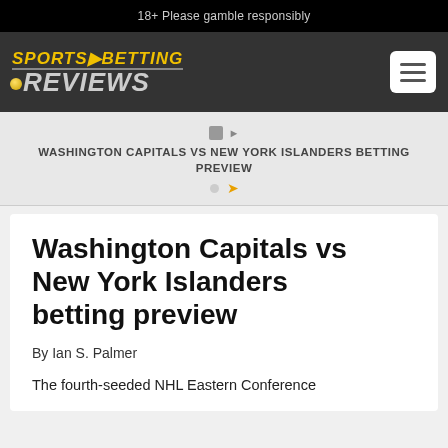18+ Please gamble responsibly
[Figure (logo): Sports Betting Reviews logo on dark nav bar with hamburger menu icon]
WASHINGTON CAPITALS VS NEW YORK ISLANDERS BETTING PREVIEW
Washington Capitals vs New York Islanders betting preview
By Ian S. Palmer
The fourth-seeded NHL Eastern Conference